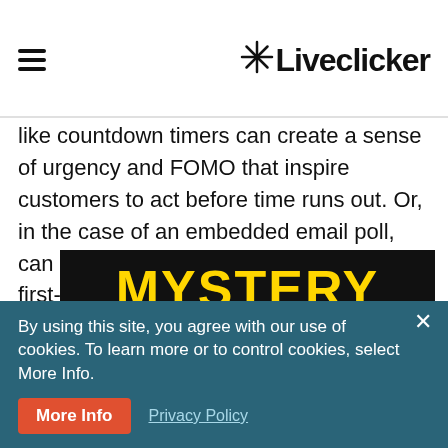Liveclicker
like countdown timers can create a sense of urgency and FOMO that inspire customers to act before time runs out. Or, in the case of an embedded email poll, can help you collect new insights and first-party data points to make your individual customer profiles even more impactful.
[Figure (illustration): Black banner with bold yellow uppercase text reading 'MYSTERY DEAL']
By using this site, you agree with our use of cookies. To learn more or to control cookies, select More Info.
More Info  Privacy Policy